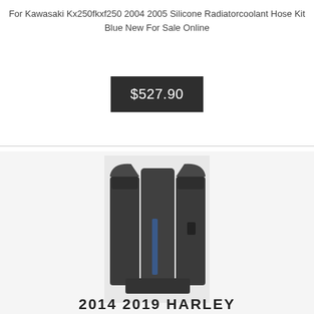For Kawasaki Kx250fkxf250 2004 2005 Silicone Radiatorcoolant Hose Kit Blue New For Sale Online
$527.90
[Figure (photo): Motorcycle saddlebags/fairings product photo showing dark grey/black plastic panels arranged together against a white background]
2014 2019 HARLEY